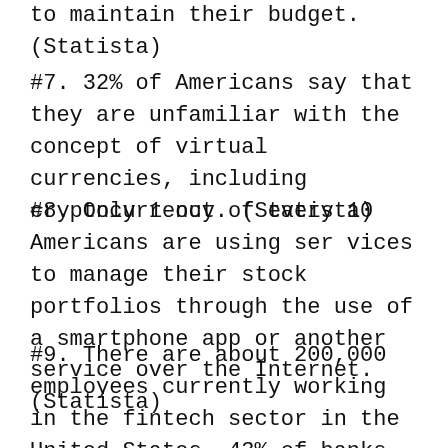to maintain their budget. (Statista)
#7. 32% of Americans say that they are unfamiliar with the concept of virtual currencies, including cryptocurrency. (Statista)
#8. Only 1 out of every 10 Americans are using ser vices to manage their stock portfolios through the use of a smartphone app or another service over the Internet. (Statista)
#9. There are about 200,000 employees currently working in the fintech sector in the United States. 43% of banks in the country have started programs to incubate new companies for the industry, which has